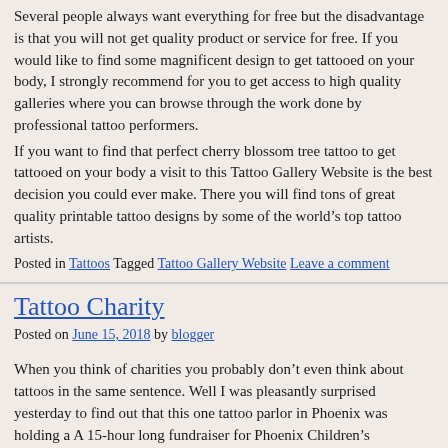Several people always want everything for free but the disadvantage is that you will not get quality product or service for free. If you would like to find some magnificent design to get tattooed on your body, I strongly recommend for you to get access to high quality galleries where you can browse through the work done by professional tattoo performers.
If you want to find that perfect cherry blossom tree tattoo to get tattooed on your body a visit to this Tattoo Gallery Website is the best decision you could ever make. There you will find tons of great quality printable tattoo designs by some of the world’s top tattoo artists.
Posted in Tattoos Tagged Tattoo Gallery Website Leave a comment
Tattoo Charity
Posted on June 15, 2018 by blogger
When you think of charities you probably don’t even think about tattoos in the same sentence. Well I was pleasantly surprised yesterday to find out that this one tattoo parlor in Phoenix was holding a A 15-hour long fundraiser for Phoenix Children’s